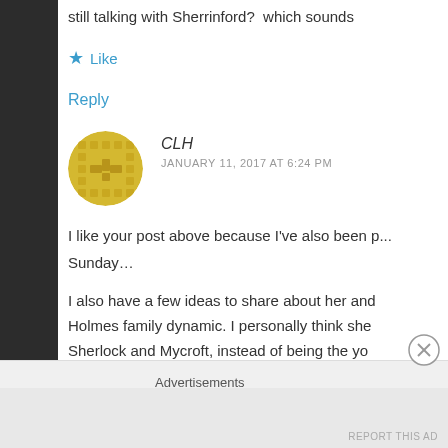still talking with Sherrinford?  which sounds
Like
Reply
CLH
JANUARY 11, 2017 AT 6:24 PM
I like your post above because I've also been p... Sunday…
I also have a few ideas to share about her and... Holmes family dynamic. I personally think she... Sherlock and Mycroft, instead of being the yo... flashbacks Sherlock has had from his childho...
Advertisements
REPORT THIS AD